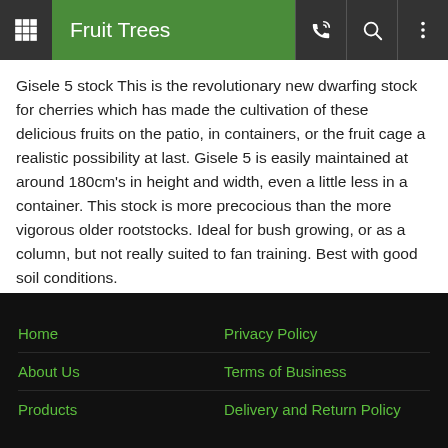Fruit Trees
Gisele 5 stock This is the revolutionary new dwarfing stock for cherries which has made the cultivation of these delicious fruits on the patio, in containers, or the fruit cage a realistic possibility at last. Gisele 5 is easily maintained at around 180cm's in height and width, even a little less in a container. This stock is more precocious than the more vigorous older rootstocks. Ideal for bush growing, or as a column, but not really suited to fan training. Best with good soil conditions.
Home | About Us | Products | Privacy Policy | Terms of Business | Delivery and Return Policy